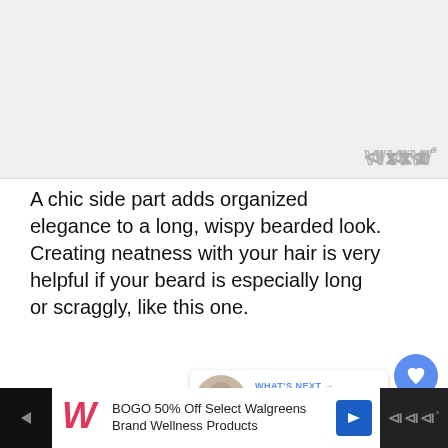[Figure (photo): Light gray placeholder area representing an image of a hairstyle/beard look]
A chic side part adds organized elegance to a long, wispy bearded look. Creating neatness with your hair is very helpful if your beard is especially long or scraggly, like this one.
5. Short Bald Fade And Square
[Figure (screenshot): Advertisement bar: BOGO 50% Off Select Walgreens Brand Wellness Products with Walgreens logo]